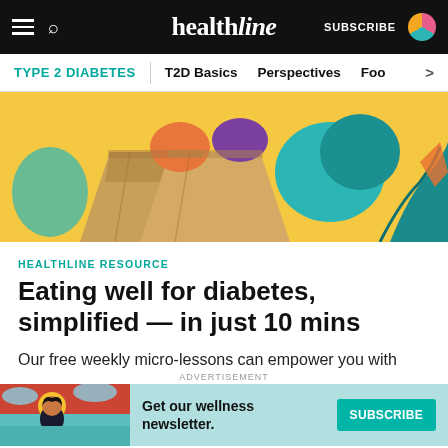healthline — SUBSCRIBE
TYPE 2 DIABETES | T2D Basics | Perspectives | Foo >
[Figure (illustration): Colorful illustration of grocery bags with vegetables and produce in yellow, teal, orange, purple colors]
HEALTHLINE RESOURCE
Eating well for diabetes, simplified — in just 10 mins
Our free weekly micro-lessons can empower you with wisdom you need to make healthy changes for your diabetes. Short and easy to follow tips for the week ahead
[Figure (illustration): Advertisement banner: Get our wellness newsletter. SUBSCRIBE button. Illustrated woman with red/teal background.]